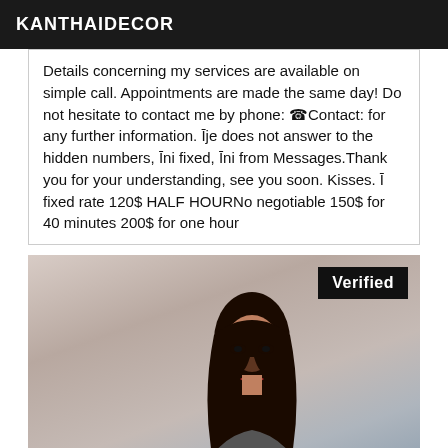KANTHAIDECOR
Details concerning my services are available on simple call. Appointments are made the same day! Do not hesitate to contact me by phone: ☎Contact: for any further information. Ģje does not answer to the hidden numbers, Ģni fixed, Ģni from Messages.Thank you for your understanding, see you soon. Kisses. Ģ fixed rate 120$ HALF HOURNo negotiable 150$ for 40 minutes 200$ for one hour
[Figure (photo): Photo of a woman with long dark hair, wearing makeup, seated in front of a blue/grey textured background. A 'Verified' badge appears in the top right corner of the image.]